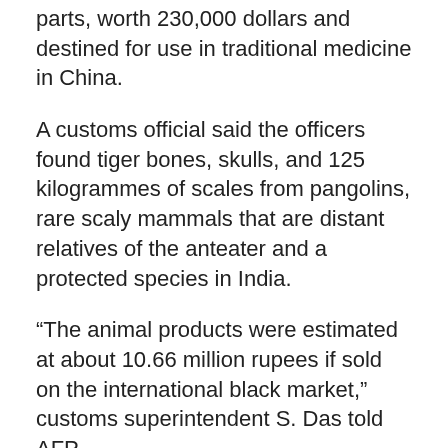parts, worth 230,000 dollars and destined for use in traditional medicine in China.
A customs official said the officers found tiger bones, skulls, and 125 kilogrammes of scales from pangolins, rare scaly mammals that are distant relatives of the anteater and a protected species in India.
“The animal products were estimated at about 10.66 million rupees if sold on the international black market,” customs superintendent S. Das told AFP.
Customs officials, acting on a tip-off, had also seized two other shipments at the international airport in the eastern city of Guwahati on Wednesday and Thursday.
In total, the raids netted contraband worth about 660,000 dollars.
On average, poachers kill 30 tigers every year in Indian